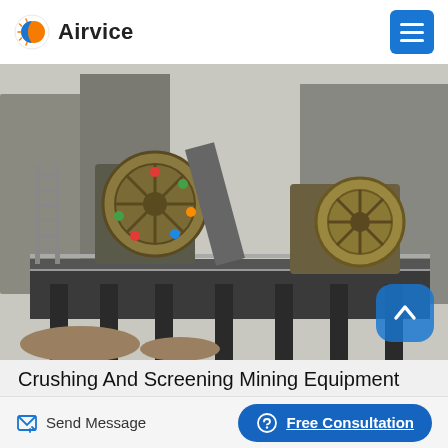Airvice
[Figure (photo): Industrial crushing and screening mining equipment with large flywheel machines mounted on a raised platform, photographed outdoors near factory buildings. Two jaw crusher machines visible with large circular flywheels.]
Crushing And Screening Mining Equipment Pilot Crushtec
Send Message
Free Consultation